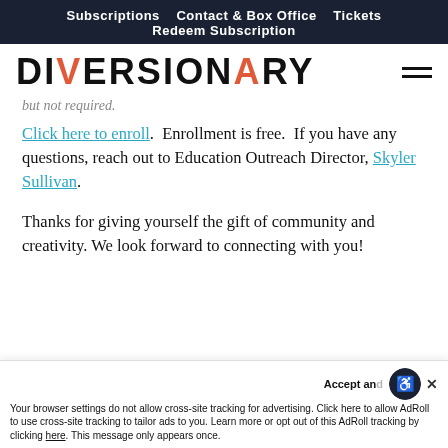Subscriptions   Contact & Box Office   Tickets   Redeem Subscription
[Figure (logo): Diversionary Theatre logo text in bold sans-serif, with the letter A in red/orange]
but not required.
Click here to enroll.  Enrollment is free.  If you have any questions, reach out to Education Outreach Director, Skyler Sullivan.
Thanks for giving yourself the gift of community and creativity. We look forward to connecting with you!
Your browser settings do not allow cross-site tracking for advertising. Click here to allow AdRoll to use cross-site tracking to tailor ads to you. Learn more or opt out of this AdRoll tracking by clicking here. This message only appears once.